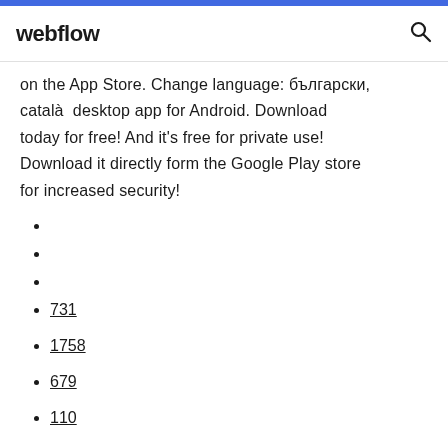webflow
on the App Store. Change language: български, català  desktop app for Android. Download today for free! And it's free for private use! Download it directly form the Google Play store for increased security!
731
1758
679
110